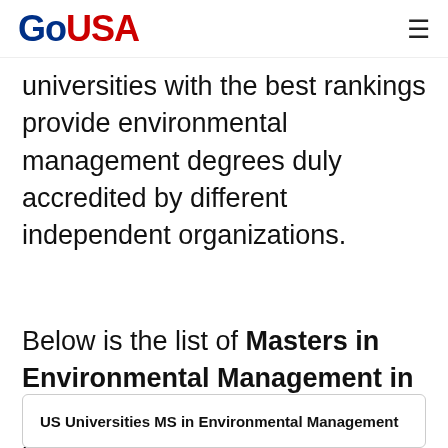GoUSA
universities with the best rankings provide environmental management degrees duly accredited by different independent organizations.
Below is the list of Masters in Environmental Management in USA rankings for different universities go like this:
| US Universities MS in Environmental Management |
| --- |